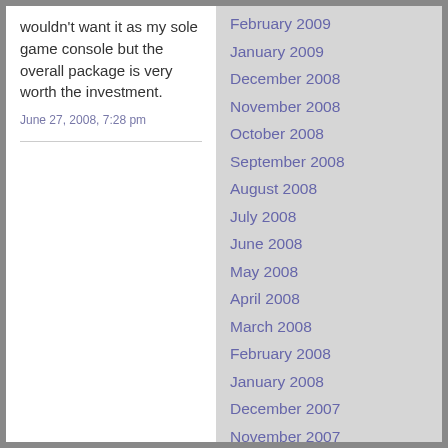wouldn't want it as my sole game console but the overall package is very worth the investment.
June 27, 2008, 7:28 pm
February 2009
January 2009
December 2008
November 2008
October 2008
September 2008
August 2008
July 2008
June 2008
May 2008
April 2008
March 2008
February 2008
January 2008
December 2007
November 2007
October 2007
September 2007
August 2007
July 2007
June 2007
May 2007